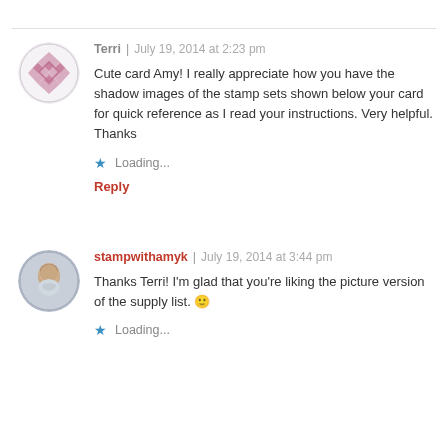Terri | July 19, 2014 at 2:23 pm
Cute card Amy! I really appreciate how you have the shadow images of the stamp sets shown below your card for quick reference as I read your instructions. Very helpful. Thanks
Loading...
Reply
stampwithamyk | July 19, 2014 at 3:44 pm
Thanks Terri! I'm glad that you're liking the picture version of the supply list. 🙂
Loading...